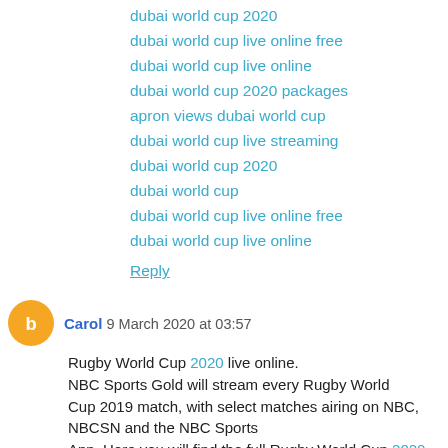dubai world cup 2020
dubai world cup live online free
dubai world cup live online
dubai world cup 2020 packages
apron views dubai world cup
dubai world cup live streaming
dubai world cup 2020
dubai world cup
dubai world cup live online free
dubai world cup live online
Reply
Carol 9 March 2020 at 03:57 Rugby World Cup 2020 live online. NBC Sports Gold will stream every Rugby World Cup 2019 match, with select matches airing on NBC, NBCSN and the NBC Sports App. Here you will find the full Rugby World Cup 2020 schedule including teams, matchups, start times, live streams and more.